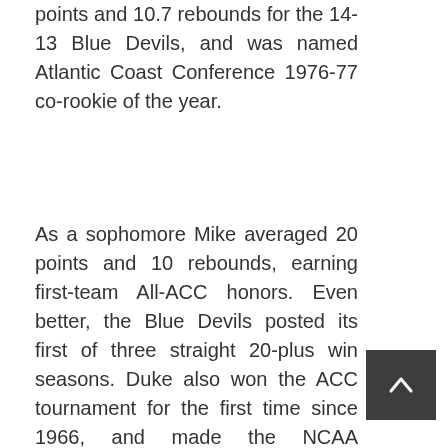points and 10.7 rebounds for the 14-13 Blue Devils, and was named Atlantic Coast Conference 1976-77 co-rookie of the year.
As a sophomore Mike averaged 20 points and 10 rebounds, earning first-team All-ACC honors. Even better, the Blue Devils posted its first of three straight 20-plus win seasons. Duke also won the ACC tournament for the first time since 1966, and made the NCAA tournament field. Mike had an excellent tournament, including a 29-point performance against Notre Dame in the semi-finals. The Cinderella Blue Devils made it all the way to the 1978 national championship game, where they